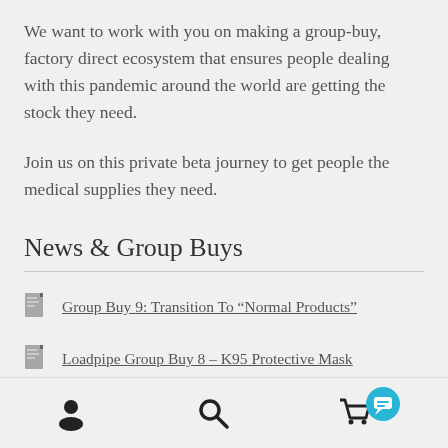We want to work with you on making a group-buy, factory direct ecosystem that ensures people dealing with this pandemic around the world are getting the stock they need.
Join us on this private beta journey to get people the medical supplies they need.
News & Group Buys
Group Buy 9: Transition To “Normal Products”
Loadpipe Group Buy 8 – K95 Protective Mask